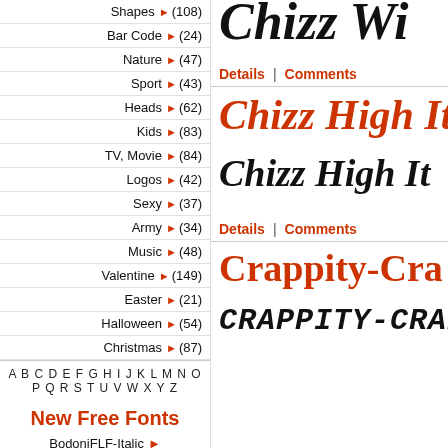Shapes ▶ (108)
Bar Code ▶ (24)
Nature ▶ (47)
Sport ▶ (43)
Heads ▶ (62)
Kids ▶ (83)
TV, Movie ▶ (84)
Logos ▶ (42)
Sexy ▶ (37)
Army ▶ (34)
Music ▶ (48)
Valentine ▶ (149)
Easter ▶ (21)
Halloween ▶ (54)
Christmas ▶ (87)
A B C D E F G H I J K L M N O P Q R S T U V W X Y Z
New Free Fonts
BodoniFLF-Italic ▶
[Figure (other): Chizz Wi... font preview (top, partially visible, italic bold black)]
Details | Comments
[Figure (other): Chizz High Ita... font preview in red italic]
[Figure (other): Chizz High It... font preview in bold italic black]
Details | Comments
[Figure (other): Crappity-Cra... font preview in red bold]
[Figure (other): CRAPPITY-CRAP- font preview in uppercase italic black]